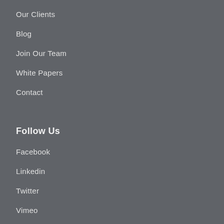Our Clients
Blog
Join Our Team
White Papers
Contact
Follow Us
Facebook
Linkedin
Twitter
Vimeo